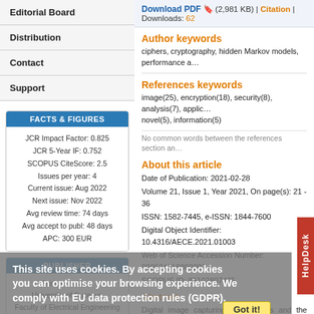Editorial Board
Distribution
Contact
Support
FACTS & FIGURES
JCR Impact Factor: 0.825
JCR 5-Year IF: 0.752
SCOPUS CiteScore: 2.5
Issues per year: 4
Current issue: Aug 2022
Next issue: Nov 2022
Avg review time: 74 days
Avg accept to publ: 48 days
APC: 300 EUR
PUBLISHER
Stefan cel Mare
University of Suceava
Faculty of Electrical Engineering
and
Download PDF (2,981 KB) | Citation | Downloads: 62
Author keywords
ciphers, cryptography, hidden Markov models, performance a...
References keywords
image(25), encryption(18), security(8), analysis(7), applic...
novel(5), information(5)
No common words between the references section an...
About this article
Date of Publication: 2021-02-28
Volume 21, Issue 1, Year 2021, On page(s): 21 - 36
ISSN: 1582-7445, e-ISSN: 1844-7600
Digital Object Identifier: 10.4316/AECE.2021.01003
Web of Science Accession Number: 000624018800003
SCOPUS ID: 85102807425
Abstract
Digital image capturing technologies and the internet an... used today. These technologies make it very easy an... capture and share personal images in daily life. Thi... difficulties in ensuring the confidentiality of private ... risks such as third persons getting hold of these data. T... goal of this study is to develop a user-friendly, powe...
This site uses cookies. By accepting cookies you can optimise your browsing experience. We comply with EU data protection rules (GDPR).
Got it!